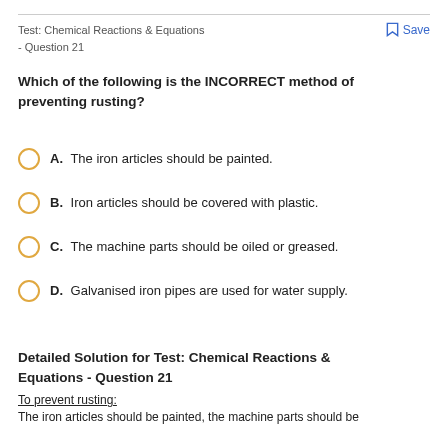Test: Chemical Reactions & Equations - Question 21
Which of the following is the INCORRECT method of preventing rusting?
A. The iron articles should be painted.
B. Iron articles should be covered with plastic.
C. The machine parts should be oiled or greased.
D. Galvanised iron pipes are used for water supply.
Detailed Solution for Test: Chemical Reactions & Equations - Question 21
To prevent rusting:
The iron articles should be painted, the machine parts should be